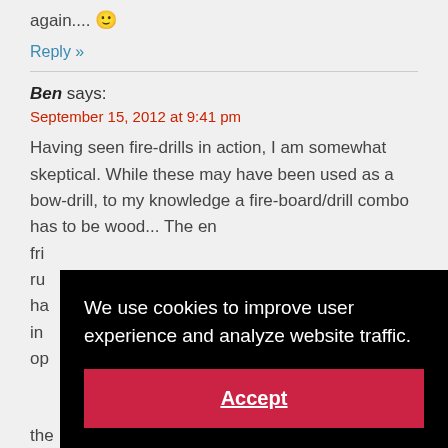again.... 🙂
Reply »
Ben says:
September 15, 2012 at 9:41 pm
Having seen fire-drills in action, I am somewhat skeptical. While these may have been used as a bow-drill, to my knowledge a fire-board/drill combo has to be wood... The en fri ru ha in op the  fire-board  holes... Unless I am missing
[Figure (screenshot): Cookie consent overlay dialog with black background, text 'We use cookies to improve user experience and analyze website traffic.' and a red Accept button]